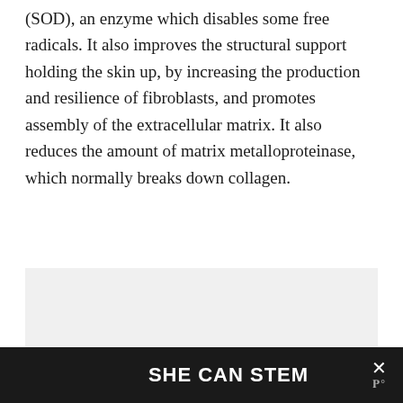(SOD), an enzyme which disables some free radicals. It also improves the structural support holding the skin up, by increasing the production and resilience of fibroblasts, and promotes assembly of the extracellular matrix. It also reduces the amount of matrix metalloproteinase, which normally breaks down collagen.
[Figure (other): A rectangular light gray box representing an image or advertisement placeholder on the page.]
SHE CAN STEM